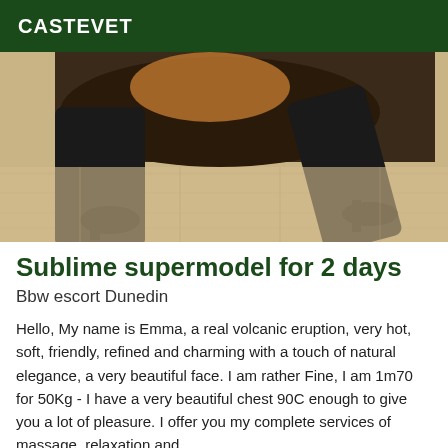CASTEVET
[Figure (photo): Photo of a person wearing black stockings and high heels, posed on a wooden floor]
Sublime supermodel for 2 days
Bbw escort Dunedin
Hello, My name is Emma, a real volcanic eruption, very hot, soft, friendly, refined and charming with a touch of natural elegance, a very beautiful face. I am rather Fine, I am 1m70 for 50Kg - I have a very beautiful chest 90C enough to give you a lot of pleasure. I offer you my complete services of massage, relaxation and